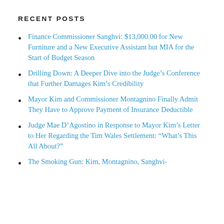RECENT POSTS
Finance Commissioner Sanghvi: $13,000.00 for New Furniture and a New Executive Assistant but MIA for the Start of Budget Season
Drilling Down: A Deeper Dive into the Judge’s Conference that Further Damages Kim’s Credibility
Mayor Kim and Commissioner Montagnino Finally Admit They Have to Approve Payment of Insurance Deductible
Judge Mae D’Agostino in Response to Mayor Kim’s Letter to Her Regarding the Tim Wales Settlement: “What’s This All About?”
The Smoking Gun: Kim, Montagnino, Sanghvi-